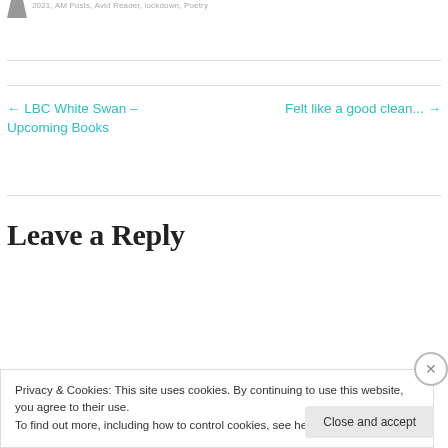2021, AM Posts, Avid Reader, lockdown, Poetry
← LBC White Swan – Upcoming Books
Felt like a good clean... →
Leave a Reply
Privacy & Cookies: This site uses cookies. By continuing to use this website, you agree to their use.
To find out more, including how to control cookies, see here: Cookie Policy